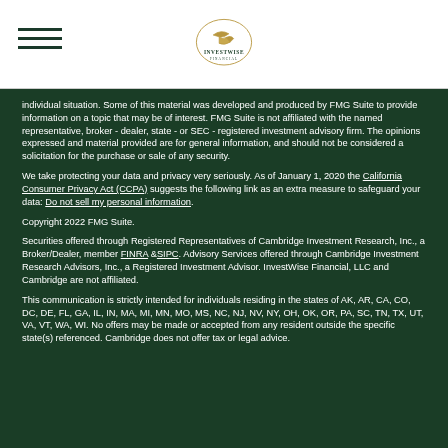[Figure (logo): InvestWise Financial logo with bird/envelope icon and text]
individual situation. Some of this material was developed and produced by FMG Suite to provide information on a topic that may be of interest. FMG Suite is not affiliated with the named representative, broker - dealer, state - or SEC - registered investment advisory firm. The opinions expressed and material provided are for general information, and should not be considered a solicitation for the purchase or sale of any security.
We take protecting your data and privacy very seriously. As of January 1, 2020 the California Consumer Privacy Act (CCPA) suggests the following link as an extra measure to safeguard your data: Do not sell my personal information.
Copyright 2022 FMG Suite.
Securities offered through Registered Representatives of Cambridge Investment Research, Inc., a Broker/Dealer, member FINRA & SIPC. Advisory Services offered through Cambridge Investment Research Advisors, Inc., a Registered Investment Advisor. InvestWise Financial, LLC and Cambridge are not affiliated.
This communication is strictly intended for individuals residing in the states of AK, AR, CA, CO, DC, DE, FL, GA, IL, IN, MA, MI, MN, MO, MS, NC, NJ, NV, NY, OH, OK, OR, PA, SC, TN, TX, UT, VA, VT, WA, WI. No offers may be made or accepted from any resident outside the specific state(s) referenced. Cambridge does not offer tax or legal advice.